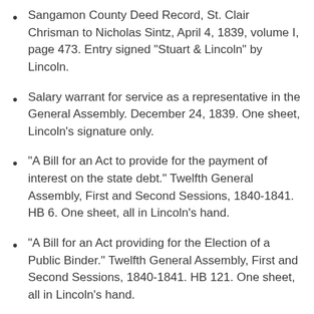Sangamon County Deed Record, St. Clair Chrisman to Nicholas Sintz, April 4, 1839, volume I, page 473. Entry signed "Stuart & Lincoln" by Lincoln.
Salary warrant for service as a representative in the General Assembly. December 24, 1839. One sheet, Lincoln's signature only.
"A Bill for an Act to provide for the payment of interest on the state debt." Twelfth General Assembly, First and Second Sessions, 1840-1841. HB 6. One sheet, all in Lincoln's hand.
"A Bill for an Act providing for the Election of a Public Binder." Twelfth General Assembly, First and Second Sessions, 1840-1841. HB 121. One sheet, all in Lincoln's hand.